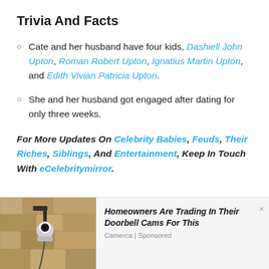Trivia And Facts
Cate and her husband have four kids, Dashiell John Upton, Roman Robert Upton, Ignatius Martin Upton, and Edith Vivian Patricia Upton.
She and her husband got engaged after dating for only three weeks.
For More Updates On Celebrity Babies, Feuds, Their Riches, Siblings, And Entertainment, Keep In Touch With eCelebritymirror.
[Figure (photo): Outdoor wall-mounted security camera on stone/stucco wall]
Homeowners Are Trading In Their Doorbell Cams For This
Camerca | Sponsored